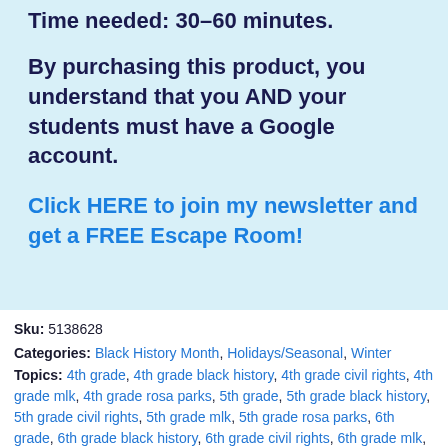Time needed: 30–60 minutes.
By purchasing this product, you understand that you AND your students must have a Google account.
Click HERE to join my newsletter and get a FREE Escape Room!
Sku: 5138628
Categories: Black History Month, Holidays/Seasonal, Winter
Topics: 4th grade, 4th grade black history, 4th grade civil rights, 4th grade mlk, 4th grade rosa parks, 5th grade, 5th grade black history, 5th grade civil rights, 5th grade mlk, 5th grade rosa parks, 6th grade, 6th grade black history, 6th grade civil rights, 6th grade mlk, 6th grade rosa parks, 7th grade, 7th grade black history, 7th grade civil rights, 7th grade mlk, 7th grade rosa parks, 8th grade, 8th grade black history